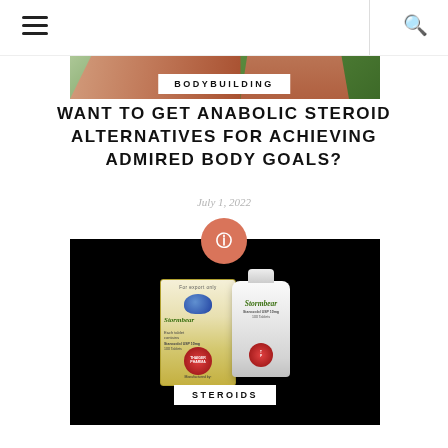navigation bar with hamburger menu and search icon
[Figure (photo): Hero image showing a muscular person with bodybuilding pose against green leafy background, with a BODYBUILDING category label overlay]
BODYBUILDING
WANT TO GET ANABOLIC STEROID ALTERNATIVES FOR ACHIEVING ADMIRED BODY GOALS?
July 1, 2022
[Figure (photo): Product image on black background showing Stormbear brand steroid medicine box and bottle from Thaiger Pharma, with a STEROIDS category label overlay]
STEROIDS